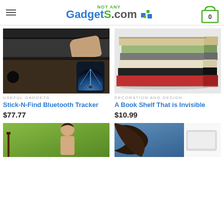NOT Any GadgetS.com
[Figure (photo): Stick-N-Find Bluetooth Tracker product image showing a bag and phone app]
USEFUL GADGETS
Stick-N-Find Bluetooth Tracker
$77.77
[Figure (photo): Stack of books floating on invisible shelf]
DECORATION AND DESIGN
A Book Shelf That is Invisible
$10.99
[Figure (photo): Partial image of woman outdoors]
[Figure (photo): Partial image of person with hair]